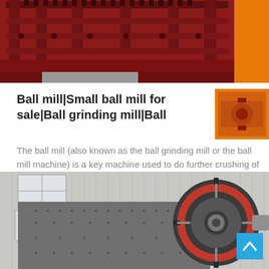[Figure (photo): Industrial red-painted crushing machine with gears and mechanical components, photographed outdoors.]
Ball mill|Small ball mill for sale|Ball grinding mill|Ball
The ball mill (also known as the ball grinding mill or the ball mill machine) is a key machine used to do further crushing of the crushed…
[Figure (photo): Large gray ball mill machine with a red gear wheel, photographed in front of an industrial building.]